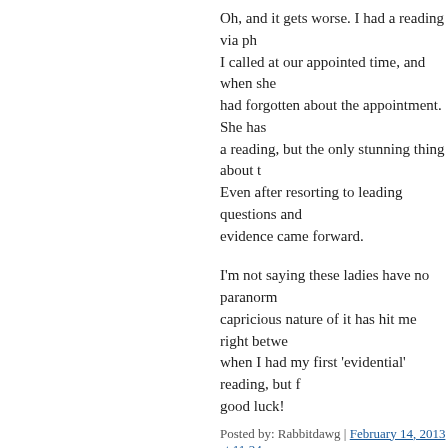Oh, and it gets worse. I had a reading via ph... I called at our appointed time, and when she... had forgotten about the appointment. She has... a reading, but the only stunning thing about t... Even after resorting to leading questions and... evidence came forward.
I'm not saying these ladies have no paranorm... capricious nature of it has hit me right betwe... when I had my first 'evidential' reading, but f... good luck!
Posted by: Rabbitdawg | February 14, 2013 at 11:34
@Rabbitdawg
Always a good idea (ie essential) to repeat a... chips fall where they may.
Posted by: tsavo | February 14, 2013 at 12:16 PM
Thanks for sharing all of that, RD.
I do think that mediumship is like any other a... terribly off days. I would expect it to be the d...